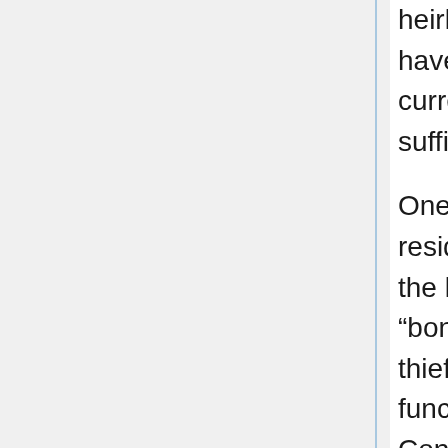heirloom doll. The monetary sum alone would have been peculiar, but the offer of additional currency “for the head of the thief” was sufficient to warrant further research.
One Benny Snicket, recent arrival and current resident of the Diamondback Casino confirmed the legitimacy of the posting, specifying that the “bonus” was indeed for death of the property thief and not simply their return as well, functionally giving an assassination order. Consideration was given to informing local law enforcement, but apparent possession of preternatural abilities in-line with a Class 1B individual (Practitioner) suggested the desired item warranted either retrieval and transportation to the SRF or destruction, so compliance was feigned. This